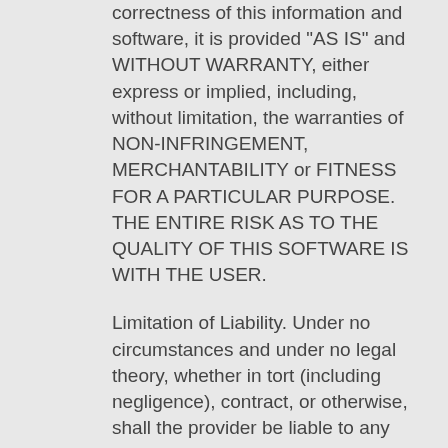correctness of this information and software, it is provided "AS IS" and WITHOUT WARRANTY, either express or implied, including, without limitation, the warranties of NON-INFRINGEMENT, MERCHANTABILITY or FITNESS FOR A PARTICULAR PURPOSE. THE ENTIRE RISK AS TO THE QUALITY OF THIS SOFTWARE IS WITH THE USER.
Limitation of Liability. Under no circumstances and under no legal theory, whether in tort (including negligence), contract, or otherwise, shall the provider be liable to any person for any direct, indirect, special, incidental, or consequential damages of any character arising as a result of the use of this information and software including, without limitation, damages for loss of goodwill, work stoppage, computer failure or malfunction, or any and all other commercial damages or